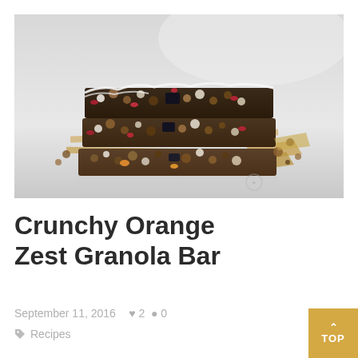[Figure (photo): Stack of three crunchy granola bars with nuts, chocolate, dried fruits and orange zest, placed on parchment paper on a light gray reflective surface. The bars show texture of mixed nuts and seeds.]
Crunchy Orange Zest Granola Bar
September 11, 2016  ♥ 2  ● 0
Recipes